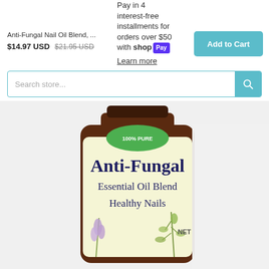Pay in 4 interest-free installments for orders over $50 with shopPay Learn more
Anti-Fungal Nail Oil Blend, ... $14.97 USD $21.95 USD
Add to Cart
Search store...
[Figure (photo): Product bottle of Anti-Fungal Essential Oil Blend for Healthy Nails, with a cream/yellow label showing lavender and tea tree herb illustrations, a green '100% Pure' badge at the top, dark brown glass bottle, partially cropped.]